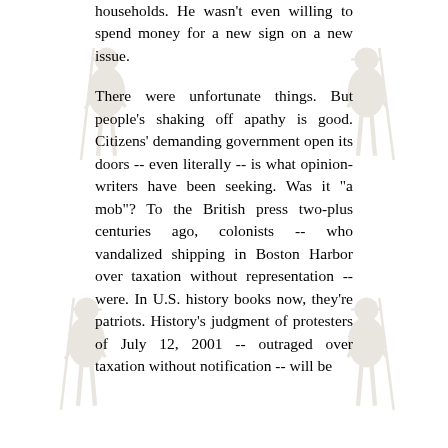[Figure (illustration): Four faded sepia-toned illustrations of colonial-era minutemen/soldiers with rifles, positioned in the four corners of the page as background decorative elements.]
households. He wasn't even willing to spend money for a new sign on a new issue.

There were unfortunate things. But people's shaking off apathy is good. Citizens' demanding government open its doors -- even literally -- is what opinion-writers have been seeking. Was it "a mob"? To the British press two-plus centuries ago, colonists -- who vandalized shipping in Boston Harbor over taxation without representation -- were. In U.S. history books now, they're patriots. History's judgment of protesters of July 12, 2001 -- outraged over taxation without notification -- will be